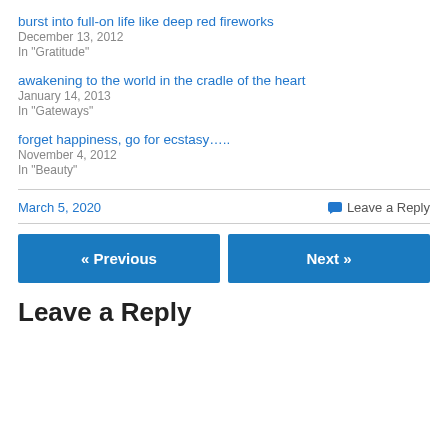burst into full-on life like deep red fireworks
December 13, 2012
In "Gratitude"
awakening to the world in the cradle of the heart
January 14, 2013
In "Gateways"
forget happiness, go for ecstasy…..
November 4, 2012
In "Beauty"
March 5, 2020
Leave a Reply
« Previous
Next »
Leave a Reply